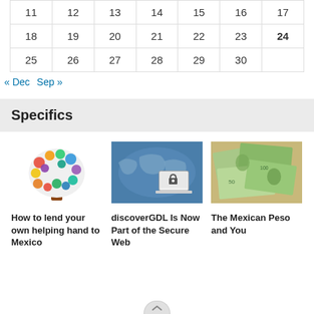| 11 | 12 | 13 | 14 | 15 | 16 | 17 |
| 18 | 19 | 20 | 21 | 22 | 23 | 24 |
| 25 | 26 | 27 | 28 | 29 | 30 |  |
« Dec   Sep »
Specifics
[Figure (illustration): Colorful tree made of hand prints illustration]
How to lend your own helping hand to Mexico
[Figure (illustration): World map with laptop showing padlock on blue background]
discoverGDL Is Now Part of the Secure Web
[Figure (photo): Mexican peso and US dollar bills spread out]
The Mexican Peso and You